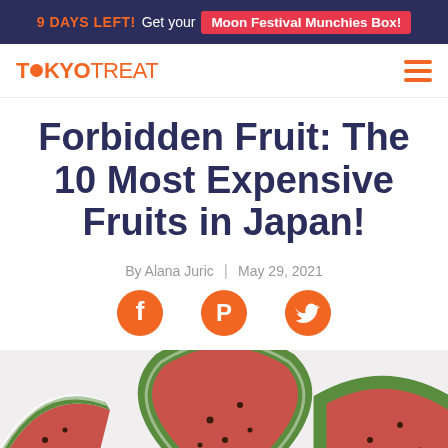9 DAYS LEFT! Get your Moon Festival Munchies Box!
[Figure (logo): TokyoTreat logo with orange dot replacing the O in Tokyo, and a hamburger menu icon]
Forbidden Fruit: The 10 Most Expensive Fruits in Japan!
By Alana Juric | May 29, 2021
[Figure (infographic): Social share icons: Facebook, Pinterest, Twitter in orange circles]
[Figure (photo): Watermelon slices on a light background, showing red flesh and green rind]